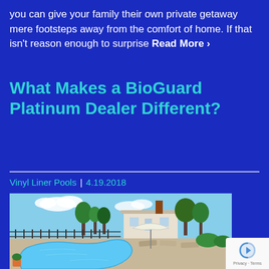you can give your family their own private getaway mere footsteps away from the comfort of home. If that isn't reason enough to surprise Read More ›
What Makes a BioGuard Platinum Dealer Different?
Vinyl Liner Pools | 4.19.2018
[Figure (photo): Outdoor backyard swimming pool with clear blue water in kidney or freeform shape, surrounded by patio with lounge chairs and umbrella, with a large white house and trees in the background under a partly cloudy sky.]